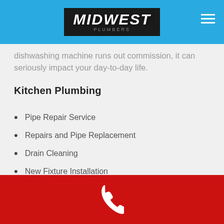MIDWEST
dishwashing machine runs out commission, it can seriously impact your day-to-day life.
Kitchen Plumbing
Pipe Repair Service
Repairs and Pipe Replacement
Drain Cleaning
New Fixture Installation
Water Line Repair
Faucet Repair Service
Dishwasher Repair
Garbage Disposal
Ice Makers
[phone icon]